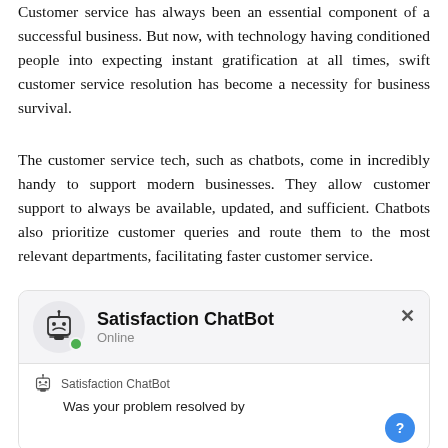Customer service has always been an essential component of a successful business. But now, with technology having conditioned people into expecting instant gratification at all times, swift customer service resolution has become a necessity for business survival.
The customer service tech, such as chatbots, come in incredibly handy to support modern businesses. They allow customer support to always be available, updated, and sufficient. Chatbots also prioritize customer queries and route them to the most relevant departments, facilitating faster customer service.
[Figure (screenshot): A chatbot UI widget showing 'Satisfaction ChatBot' with Online status, a robot icon, a close button (×), and a message body saying 'Satisfaction ChatBot' followed by 'Was your problem resolved by']